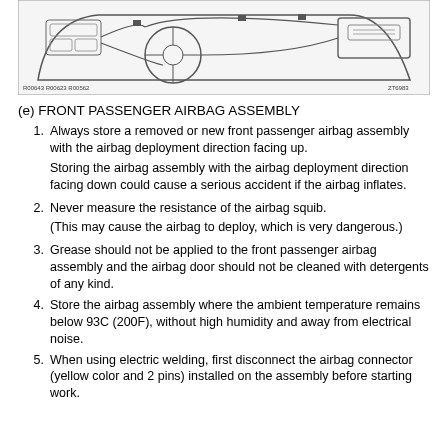[Figure (engineering-diagram): Technical diagram of a vehicle dashboard/instrument panel showing airbag wiring harness routing. Multiple part number labels visible at bottom left (R00643, R00623, R00562). Reference code ZT6983 at bottom right.]
(e) FRONT PASSENGER AIRBAG ASSEMBLY
Always store a removed or new front passenger airbag assembly with the airbag deployment direction facing up.

Storing the airbag assembly with the airbag deployment direction facing down could cause a serious accident if the airbag inflates.
Never measure the resistance of the airbag squib.

(This may cause the airbag to deploy, which is very dangerous.)
Grease should not be applied to the front passenger airbag assembly and the airbag door should not be cleaned with detergents of any kind.
Store the airbag assembly where the ambient temperature remains below 93C (200F), without high humidity and away from electrical noise.
When using electric welding, first disconnect the airbag connector (yellow color and 2 pins) installed on the assembly before starting work.